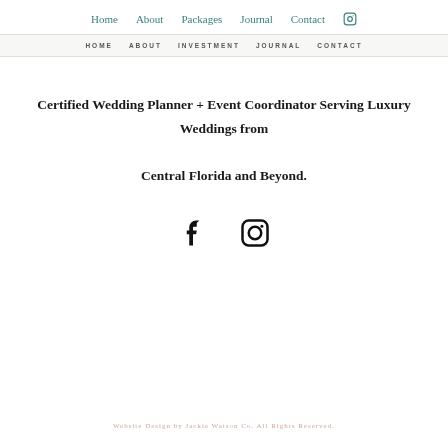Home  About  Packages  Journal  Contact  [Instagram]
HOME   ABOUT   INVESTMENT   JOURNAL   CONTACT
Certified Wedding Planner + Event Coordinator Serving Luxury Weddings from Central Florida and Beyond.
[Figure (illustration): Social media icons: Facebook (f) and Instagram logo]
Website Design by Jackie Watson Co. All Rights Reserved.